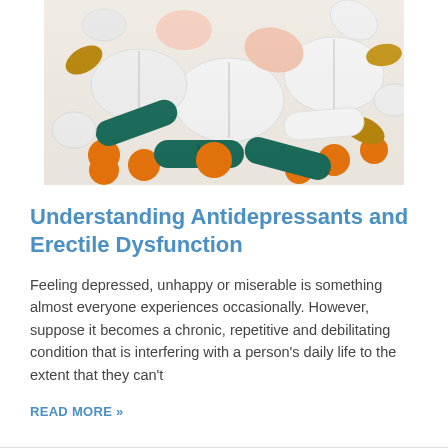[Figure (photo): Close-up photo of various pills and capsules including white tablets, orange round pills, teal/dark green capsules, and gold/brown capsules piled together]
Understanding Antidepressants and Erectile Dysfunction
Feeling depressed, unhappy or miserable is something almost everyone experiences occasionally. However, suppose it becomes a chronic, repetitive and debilitating condition that is interfering with a person's daily life to the extent that they can't
READ MORE »